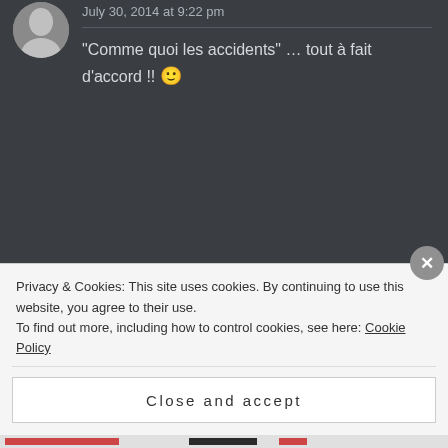July 30, 2014 at 9:22 pm
“Comme quoi les accidents” … tout à fait d’accord !! 🙂
[Figure (photo): Circular avatar photo of Julia Barrett outdoors near green hedges and countryside]
JULIABARRETT says:
July 29, 2014 at 8:44 pm
Beautiful!
Privacy & Cookies: This site uses cookies. By continuing to use this website, you agree to their use.
To find out more, including how to control cookies, see here: Cookie Policy
Close and accept